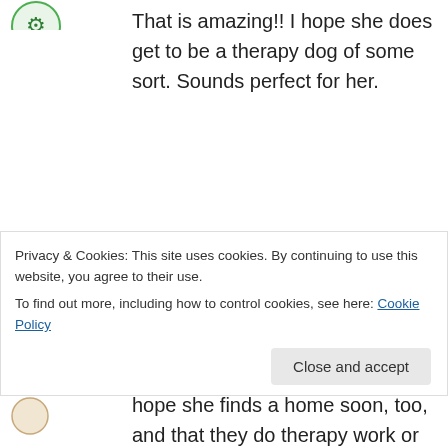[Figure (illustration): Green avatar icon at top left]
That is amazing!! I hope she does get to be a therapy dog of some sort. Sounds perfect for her.
↳ Reply
[Figure (illustration): Blue decorative avatar icon for Jen]
Jen on September 13, 2011 at 10:47 am
Zee is a beautiful girl! Her temperament is really a blessing; I hope she finds a home soon, too, and that they do therapy work or something
Privacy & Cookies: This site uses cookies. By continuing to use this website, you agree to their use.
To find out more, including how to control cookies, see here: Cookie Policy
Close and accept
[Figure (illustration): Small avatar icon at bottom left]